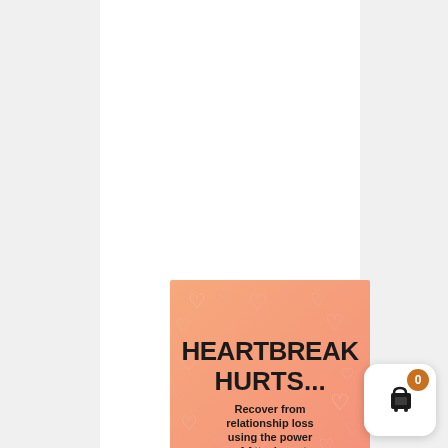[Figure (illustration): Book cover with peach/salmon background decorated with pink heart outlines. Large bold black text reads 'HEARTBREAK HURTS...' followed by smaller bold text 'Recover from relationship loss using the power of Attachment']
[Figure (infographic): Shopping cart icon button with orange badge showing '0' count, white rounded square background]